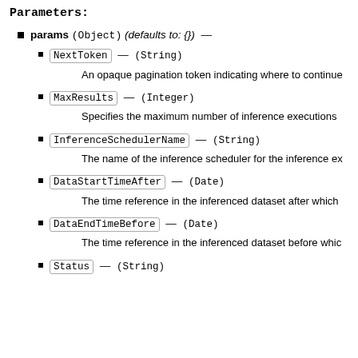Parameters:
params (Object) (defaults to: {}) —
NextToken — (String)
An opaque pagination token indicating where to continue
MaxResults — (Integer)
Specifies the maximum number of inference executions
InferenceSchedulerName — (String)
The name of the inference scheduler for the inference ex
DataStartTimeAfter — (Date)
The time reference in the inferenced dataset after which
DataEndTimeBefore — (Date)
The time reference in the inferenced dataset before whic
Status — (String)